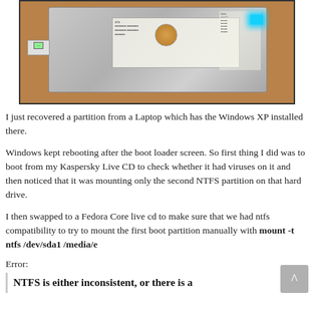[Figure (photo): Photo of a Fujitsu laptop hard drive placed on a wooden surface, with a USB adapter connected to it and a blue LED light visible on the right side.]
I just recovered a partition from a Laptop which has the Windows XP installed there.
Windows kept rebooting after the boot loader screen. So first thing I did was to boot from my Kaspersky Live CD to check whether it had viruses on it and then noticed that it was mounting only the second NTFS partition on that hard drive.
I then swapped to a Fedora Core live cd to make sure that we had ntfs compatibility to try to mount the first boot partition manually with mount -t ntfs /dev/sda1 /media/e
Error:
NTFS is either inconsistent, or there is a